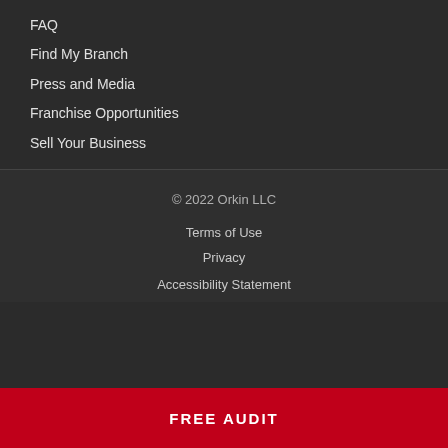FAQ
Find My Branch
Press and Media
Franchise Opportunities
Sell Your Business
© 2022 Orkin LLC
Terms of Use
Privacy
Accessibility Statement
FREE AUDIT